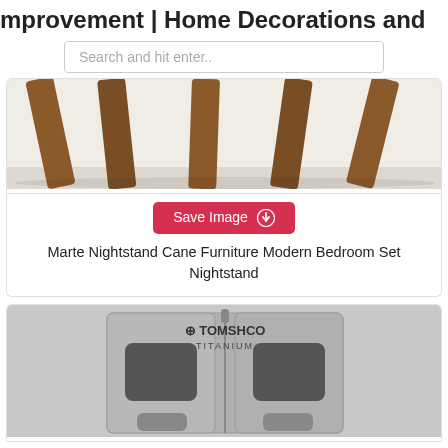mprovement | Home Decorations and
Search and hit enter..
[Figure (photo): Close-up photo of wooden furniture legs (nightstand) on a white/light grey floor background]
Save Image
Marte Nightstand Cane Furniture Modern Bedroom Set Nightstand
[Figure (photo): Photo of a TOMSHOO Titanium folding camp stove/stand, silver metallic finish with a rectangular cutout window]